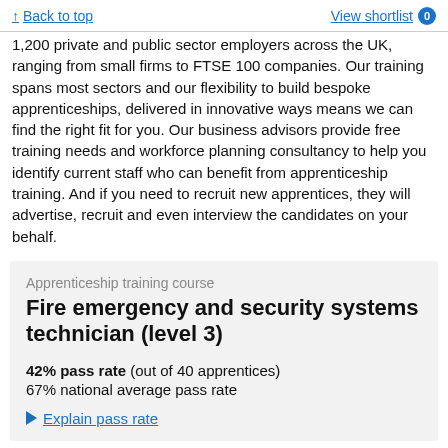Back to top | View shortlist 0
1,200 private and public sector employers across the UK, ranging from small firms to FTSE 100 companies. Our training spans most sectors and our flexibility to build bespoke apprenticeships, delivered in innovative ways means we can find the right fit for you. Our business advisors provide free training needs and workforce planning consultancy to help you identify current staff who can benefit from apprenticeship training. And if you need to recruit new apprentices, they will advertise, recruit and even interview the candidates on your behalf.
Apprenticeship training course
Fire emergency and security systems technician (level 3)
42% pass rate (out of 40 apprentices)
67% national average pass rate
Explain pass rate